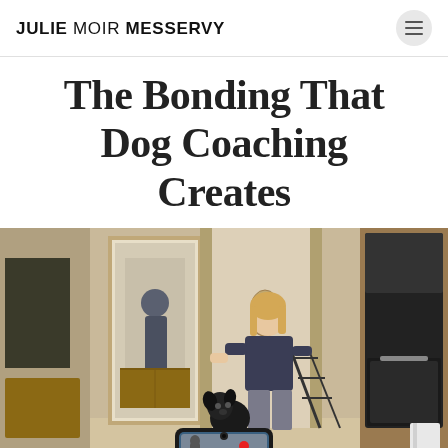JULIE MOIR MESSERVY
The Bonding That Dog Coaching Creates
[Figure (photo): A woman training a dog inside a home kitchen/living area. A smartphone on a tripod in the foreground is recording the session. A mirror in the background reflects the scene. The room has wood cabinets, tile floor, and a built-in oven on the right.]